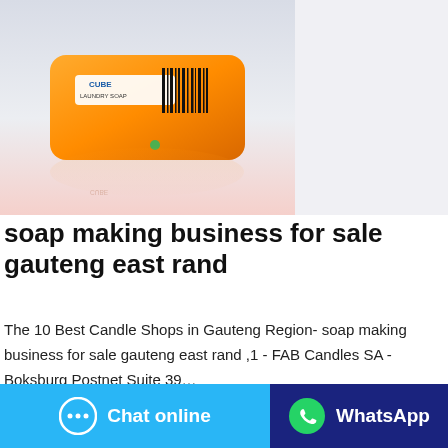[Figure (photo): Orange soap bar package photographed on a white/light background with reflection below]
soap making business for sale gauteng east rand
The 10 Best Candle Shops in Gauteng Region- soap making business for sale gauteng east rand ,1 - FAB Candles SA - Boksburg Postnet Suite 39…
contact supplier   Whatsapp
Chat online   WhatsApp